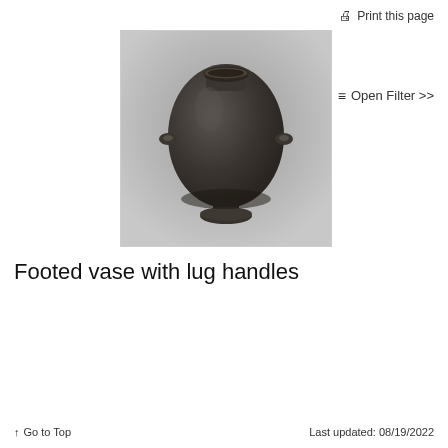🖨 Print this page
≡ Open Filter >>
[Figure (photo): A dark brown/black ceramic footed vase with two small lug handles on the sides, photographed against a gray gradient background. The vase has a wide round body tapering to a pedestal base and an open mouth at the top.]
Footed vase with lug handles
↑ Go to Top    Last updated: 08/19/2022